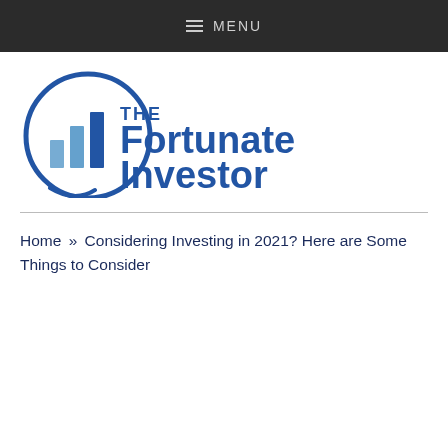MENU
[Figure (logo): The Fortunate Investor logo — circular icon with bar chart and the text 'THE Fortunate Investor']
Home » Considering Investing in 2021? Here are Some Things to Consider